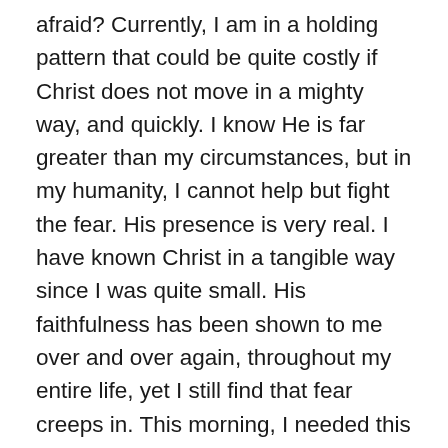afraid? Currently, I am in a holding pattern that could be quite costly if Christ does not move in a mighty way, and quickly. I know He is far greater than my circumstances, but in my humanity, I cannot help but fight the fear. His presence is very real. I have known Christ in a tangible way since I was quite small. His faithfulness has been shown to me over and over again, throughout my entire life, yet I still find that fear creeps in. This morning, I needed this concrete reminder of Who exactly is in charge. The Lord, my God, will take hold of my hand, and He tells me to not be afraid, and that He will help me. This, this is reassurance. No matter what I see, or what I feel, He is in